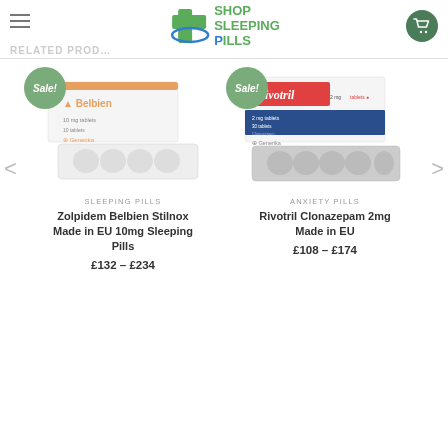Shop Sleeping Pills
RELATED PRODUCTS
[Figure (photo): Product photo of Belbien Zolpidem 10mg sleeping pills box with blister pack]
Sale!
SLEEPING PILLS
Zolpidem Belbien Stilnox Made in EU 10mg Sleeping Pills
£132 – £234
[Figure (photo): Product photo of Rivotril Clonazepam 2mg anxiety pills box with blister pack]
Sale!
ANXIETY PILLS
Rivotril Clonazepam 2mg Made in EU
£108 – £174